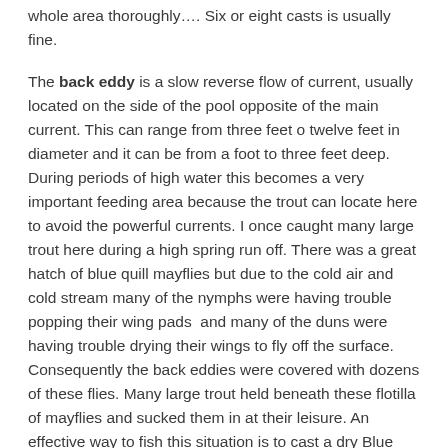whole area thoroughly…. Six or eight casts is usually fine.
The back eddy is a slow reverse flow of current, usually located on the side of the pool opposite of the main current. This can range from three feet o twelve feet in diameter and it can be from a foot to three feet deep. During periods of high water this becomes a very important feeding area because the trout can locate here to avoid the powerful currents. I once caught many large trout here during a high spring run off. There was a great hatch of blue quill mayflies but due to the cold air and cold stream many of the nymphs were having trouble popping their wing pads and many of the duns were having trouble drying their wings to fly off the surface. Consequently the back eddies were covered with dozens of these flies. Many large trout held beneath these flotilla of mayflies and sucked them in at their leisure. An effective way to fish this situation is to cast a dry Blue Quill dry fly size 16